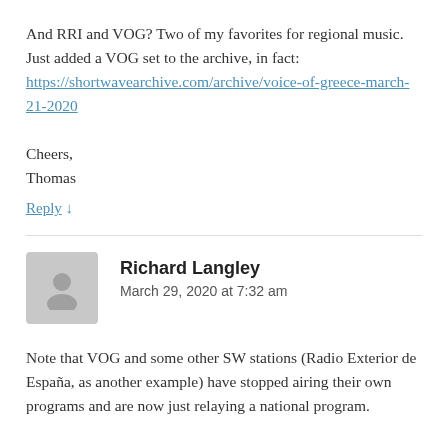And RRI and VOG? Two of my favorites for regional music. Just added a VOG set to the archive, in fact: https://shortwavearchive.com/archive/voice-of-greece-march-21-2020

Cheers,
Thomas
Reply ↓
Richard Langley
March 29, 2020 at 7:32 am
Note that VOG and some other SW stations (Radio Exterior de España, as another example) have stopped airing their own programs and are now just relaying a national program.